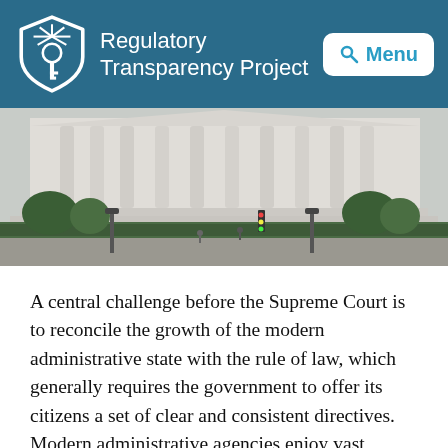Regulatory Transparency Project
[Figure (photo): Exterior photograph of the United States Supreme Court building, showing the columned facade, surrounding trees and hedges, and a street scene in the foreground.]
A central challenge before the Supreme Court is to reconcile the growth of the modern administrative state with the rule of law, which generally requires the government to offer its citizens a set of clear and consistent directives. Modern administrative agencies enjoy vast discretion to implement complex schemes, and their power is backed by heavy legal sanctions. These sanctions apply to developers of long-term projects who need a stable legal regime